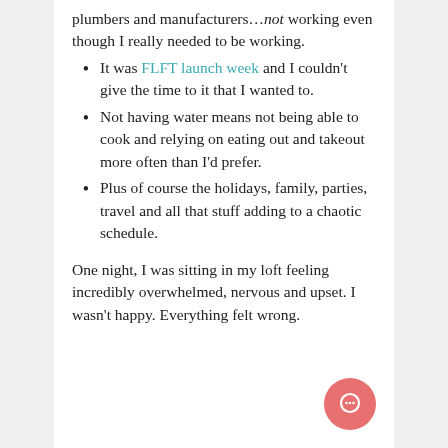plumbers and manufacturers...not working even though I really needed to be working.
It was FLFT launch week and I couldn't give the time to it that I wanted to.
Not having water means not being able to cook and relying on eating out and takeout more often than I'd prefer.
Plus of course the holidays, family, parties, travel and all that stuff adding to a chaotic schedule.
One night, I was sitting in my loft feeling incredibly overwhelmed, nervous and upset. I wasn't happy. Everything felt wrong.